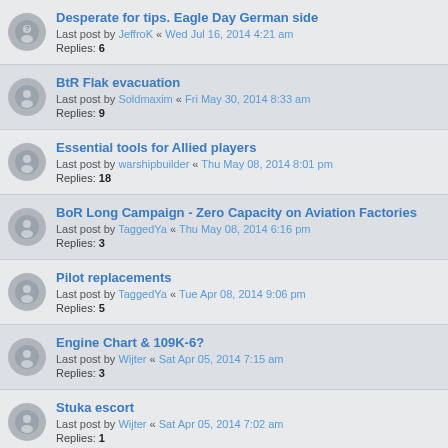Desperate for tips. Eagle Day German side
Last post by JeffroK « Wed Jul 16, 2014 4:21 am
Replies: 6
BtR Flak evacuation
Last post by Soldmaxim « Fri May 30, 2014 8:33 am
Replies: 9
Essential tools for Allied players
Last post by warshipbuilder « Thu May 08, 2014 8:01 pm
Replies: 18
BoR Long Campaign - Zero Capacity on Aviation Factories
Last post by TaggedYa « Thu May 08, 2014 6:16 pm
Replies: 3
Pilot replacements
Last post by TaggedYa « Tue Apr 08, 2014 9:06 pm
Replies: 5
Engine Chart & 109K-6?
Last post by Wijter « Sat Apr 05, 2014 7:15 am
Replies: 3
Stuka escort
Last post by Wijter « Sat Apr 05, 2014 7:02 am
Replies: 1
BtR - How can i change the production?
Last post by cohimbra « Sun Jan 05, 2014 6:54 pm
Replies: 2
BoB questions
Last post by LeCricket « Sun Jan 05, 2014 6:32 am
Replies: 4
Key Book: Allied Strategic & Tactical Doctrine (partial)